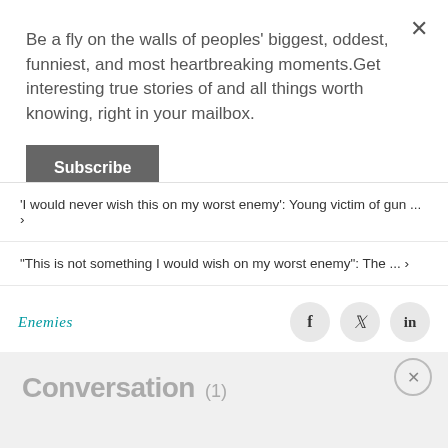Be a fly on the walls of peoples' biggest, oddest, funniest, and most heartbreaking moments.Get interesting true stories of and all things worth knowing, right in your mailbox.
Subscribe
'I would never wish this on my worst enemy': Young victim of gun ... ›
“This is not something I would wish on my worst enemy”: The ... ›
Enemies
Conversation (1)